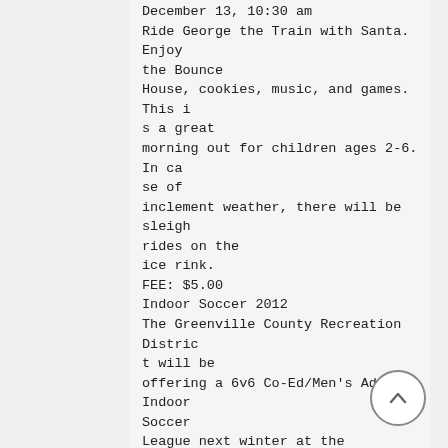December 13, 10:30 am
Ride George the Train with Santa. Enjoy the Bounce House, cookies, music, and games. This is a great morning out for children ages 2-6. In case of inclement weather, there will be sleigh rides on the ice rink.
FEE: $5.00
Indoor Soccer 2012
The Greenville County Recreation District will be offering a 6v6 Co-Ed/Men's Adult Indoor Soccer League next winter at the Pavilion. All games will be played at the Pavilion inside the In-Line Hockey Rink.
FEE: $500.00 / Team
If you live in Greenville County outside of the municipalities of Greenville, Mauldin, Greer, or